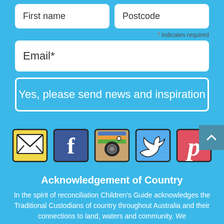First name
Postcode
* indicates required
Email*
Yes, please send news and inspiration
[Figure (illustration): Five social media icons in illustrated/hand-drawn style: email (yellow envelope), Facebook (blue f), Instagram (camera), Twitter (blue bird), Pinterest (pink P)]
Acknowledgement of Country
In the spirit of reconciliation Children's Guide acknowledges the Traditional Custodians of country throughout Australia and their connections to land, waters and community. We